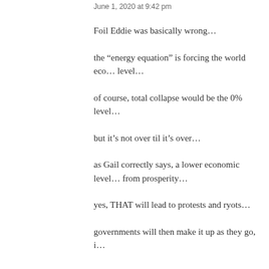June 1, 2020 at 9:42 pm
Foil Eddie was basically wrong…
the “energy equation” is forcing the world eco… level…
of course, total collapse would be the 0% level…
but it’s not over til it’s over…
as Gail correctly says, a lower economic level… from prosperity…
yes, THAT will lead to protests and ryots…
governments will then make it up as they go, i…
Pintada says: